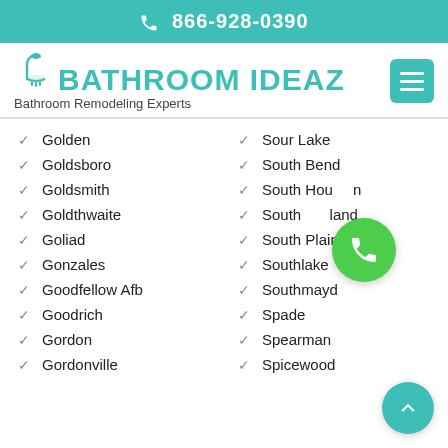866-928-0390
[Figure (logo): Bathroom Ideaz logo with shower head icon and text 'Bathroom Remodeling Experts']
Golden
Sour Lake
Goldsboro
South Bend
Goldsmith
South Houston
Goldthwaite
South Lakeland
Goliad
South Plains
Gonzales
Southlake
Goodfellow Afb
Southmayd
Goodrich
Spade
Gordon
Spearman
Gordonville
Spicewood